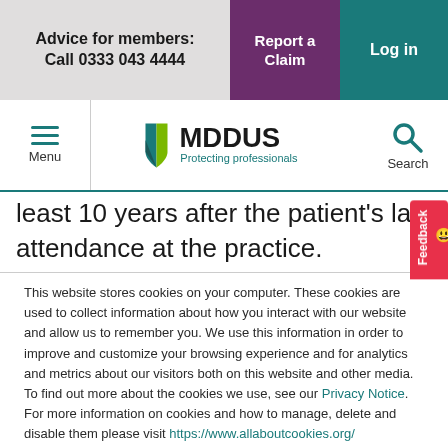Advice for members: Call 0333 043 4444 | Report a Claim | Log in
[Figure (logo): MDDUS logo with shield icon and tagline 'Protecting professionals']
least 10 years after the patient's last attendance at the practice.
This website stores cookies on your computer. These cookies are used to collect information about how you interact with our website and allow us to remember you. We use this information in order to improve and customize your browsing experience and for analytics and metrics about our visitors both on this website and other media. To find out more about the cookies we use, see our Privacy Notice. For more information on cookies and how to manage, delete and disable them please visit https://www.allaboutcookies.org/
Accept